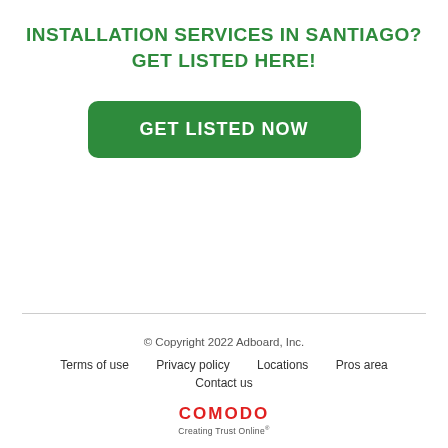INSTALLATION SERVICES IN SANTIAGO?
GET LISTED HERE!
[Figure (other): Green rounded rectangle button with white bold text reading GET LISTED NOW]
© Copyright 2022 Adboard, Inc.
Terms of use   Privacy policy   Locations   Pros area
Contact us
COMODO Creating Trust Online®